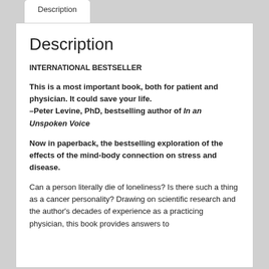Description
Description
INTERNATIONAL BESTSELLER
This is a most important book, both for patient and physician. It could save your life.
–Peter Levine, PhD, bestselling author of In an Unspoken Voice
Now in paperback, the bestselling exploration of the effects of the mind-body connection on stress and disease.
Can a person literally die of loneliness? Is there such a thing as a cancer personality? Drawing on scientific research and the author's decades of experience as a practicing physician, this book provides answers to